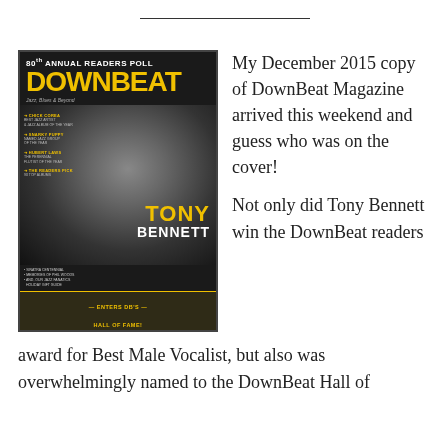[Figure (photo): Cover of DownBeat Magazine December 2015, featuring Tony Bennett. Header reads '80th Annual Readers Poll'. Large yellow DOWNBEAT logo. Tony Bennett in black and white photo smiling in a suit. Bottom text: TONY BENNETT ENTERS DB's HALL OF FAME!]
My December 2015 copy of DownBeat Magazine arrived this weekend and guess who was on the cover!
Not only did Tony Bennett win the DownBeat readers award for Best Male Vocalist, but also was overwhelmingly named to the DownBeat Hall of